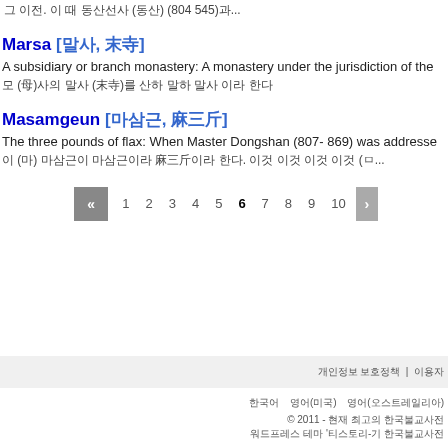그 이전. 이 때 동산선사 (동산) (804 945)과...
Marsa [말사, 末寺]
A subsidiary or branch monastery: A monastery under the jurisdiction of the
모 (母)사의 말사 (末寺)를 산하 말하 말사 이라 한다
Masamgeun [마삼근, 麻三斤]
The three pounds of flax: When Master Dongshan (807- 869) was addressed
이 (마) 마삼근이 마삼근이라 麻三斤이라 한다. 이것 이것 이것 이것 (ㅁ...
개인정보 보호정책 | 이용자
한국어  영어(미국)  영어(오스트레일리아)
© 2011 - 현재 최고의 한국불교사전
워드프레스 테마 '티스토리-기 한국불교사전